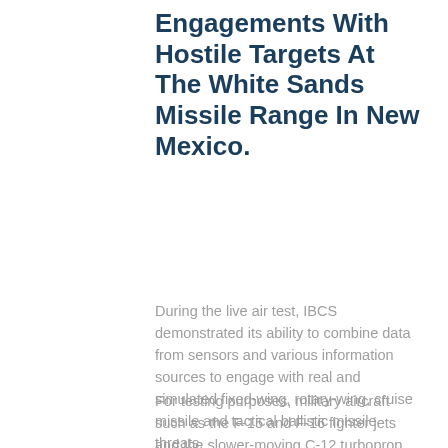Engagements With Hostile Targets At The White Sands Missile Range In New Mexico.
During the live air test, IBCS demonstrated its ability to combine data from sensors and various information sources to engage with real and simulated fixed-wing, rotary-wing, cruise missile and tactical ballistic missile threats.
For testing purposes, military aircraft such as the F-15 and F-16 fighter jets and the slower-moving C-12 turboprop were used as surrogates, replicating the flight patterns of hostile targets along a flight corridor of the White Sands Missile